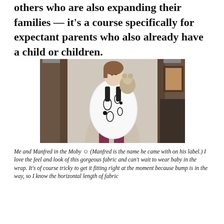others who are also expanding their families — it's a course specifically for expectant parents who also already have a child or children.
[Figure (photo): A woman wearing a black and white paisley patterned baby carrier/wrap (Moby wrap) with a stuffed toy (Manfred) on her back, standing in a room with brown curtains.]
Me and Manfred in the Moby ☺ (Manfred is the name he came with on his label.) I love the feel and look of this gorgeous fabric and can't wait to wear baby in the wrap. It's of course tricky to get it fitting right at the moment because bump is in the way, so I know the horizontal length of fabric